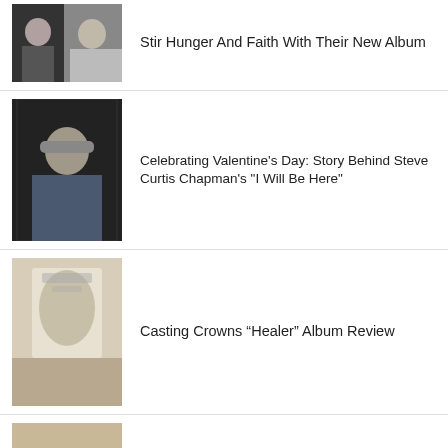Stir Hunger And Faith With Their New Album
Celebrating Valentine's Day: Story Behind Steve Curtis Chapman's "I Will Be Here"
Casting Crowns “Healer” Album Review
Southern Raised To Celebrate The Nuptials Of Two Group Members
Chris Tomlin And Steffany Gretzinger Re-Imagine A Keith Green Classic